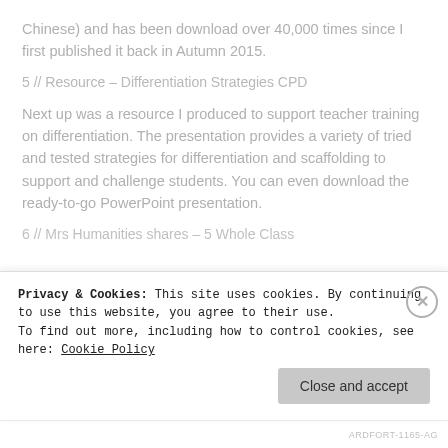Chinese) and has been download over 40,000 times since I first published it back in Autumn 2015.
5 // Resource – Differentiation Strategies CPD
Next up was a resource I produced to support teacher training on differentiation. The presentation provides a variety of tried and tested strategies for differentiation and scaffolding to support and challenge students. You can even download the ready-to-go PowerPoint presentation.
6 // Mrs Humanities shares – 5 Whole Class
Privacy & Cookies: This site uses cookies. By continuing to use this website, you agree to their use.
To find out more, including how to control cookies, see here: Cookie Policy
Close and accept